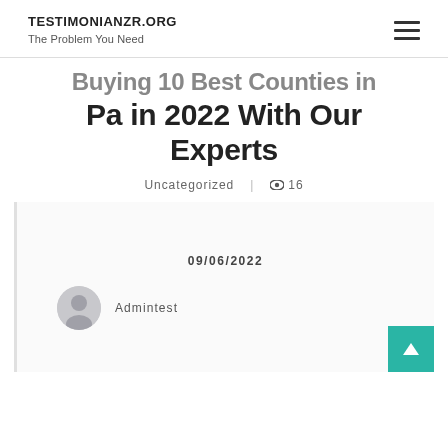TESTIMONIANZR.ORG
The Problem You Need
Buying 10 Best Counties in Pa in 2022 With Our Experts
Uncategorized | 👁 16
09/06/2022
Admintest